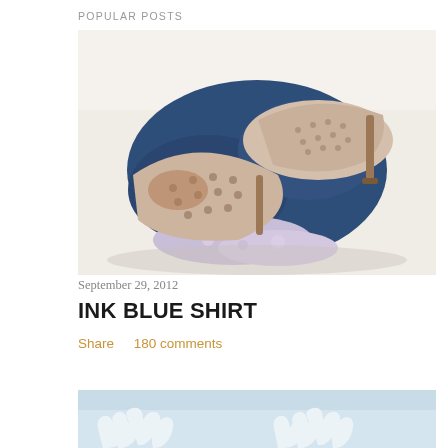POPULAR POSTS
[Figure (photo): Overhead flat lay photo of beige/nude perforated high heel shoes placed on top of a folded navy blue shirt and a floral fabric, on a white background.]
September 29, 2012
INK BLUE SHIRT
Share    180 comments
[Figure (photo): Partial bottom image showing white floral or coral-like objects against a light blue background.]